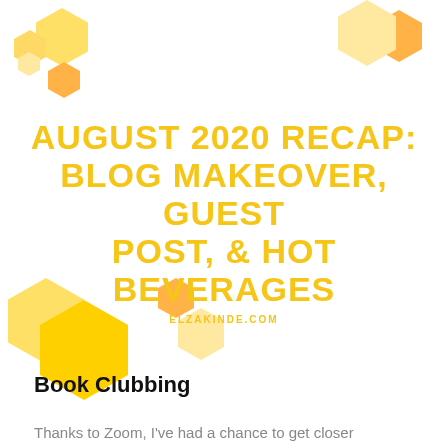[Figure (illustration): Decorative honeycomb hexagon shapes in yellow, gold, and orange arranged in clusters at top-left, top-right, and middle-left areas of the page.]
AUGUST 2020 RECAP: BLOG MAKEOVER, GUEST POST, & HOT BEVERAGES
ELZAKINDE.COM
Book Clubbing
Thanks to Zoom, I've had a chance to get closer